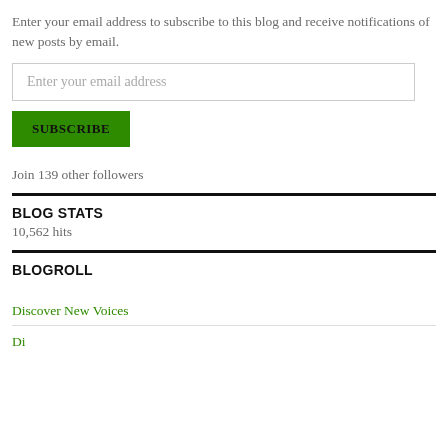Enter your email address to subscribe to this blog and receive notifications of new posts by email.
Enter your email address
SUBSCRIBE
Join 139 other followers
BLOG STATS
10,562 hits
BLOGROLL
Discover New Voices
Di…